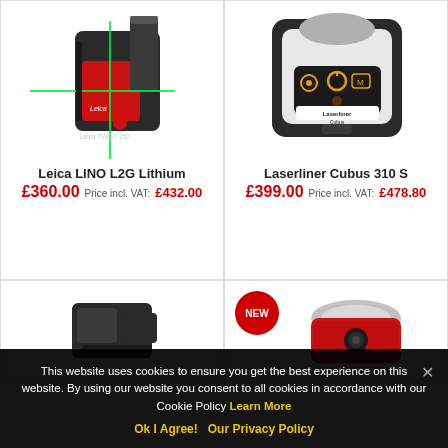[Figure (photo): Leica TWIST 250 green line laser level on magnetic mount bracket]
Leica LINO L2G Lithium
£360.00  Price incl. VAT:  £432.00
[Figure (photo): Laserliner Cubus 310 S rotating laser level, white and black housing with orange control panel]
Laserliner Cubus 310 S
£399.00  Price incl. VAT:  £478.80
[Figure (photo): Small laser level device, partial view]
[Figure (photo): NEW badge red circle, rotating laser level device in red and silver, partial view]
This website uses cookies to ensure you get the best experience on this website. By using our website you consent to all cookies in accordance with our Cookie Policy Learn More
Ok I Agree!   Our Privacy Policy